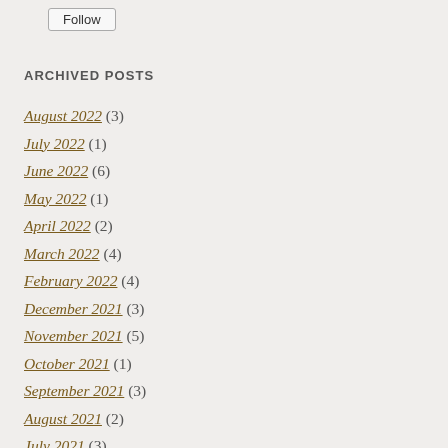ARCHIVED POSTS
August 2022 (3)
July 2022 (1)
June 2022 (6)
May 2022 (1)
April 2022 (2)
March 2022 (4)
February 2022 (4)
December 2021 (3)
November 2021 (5)
October 2021 (1)
September 2021 (3)
August 2021 (2)
July 2021 (3)
June 2021 (4)